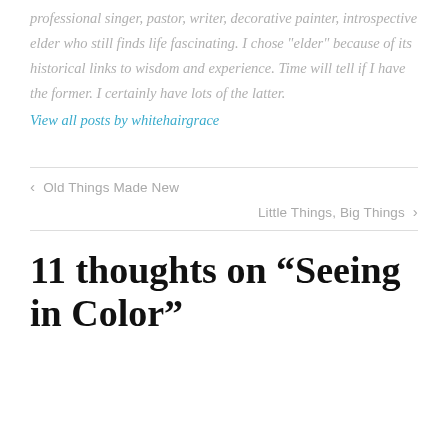professional singer, pastor, writer, decorative painter, introspective elder who still finds life fascinating. I chose "elder" because of its historical links to wisdom and experience. Time will tell if I have the former. I certainly have lots of the latter.
View all posts by whitehairgrace
< Old Things Made New
Little Things, Big Things >
11 thoughts on “Seeing in Color”